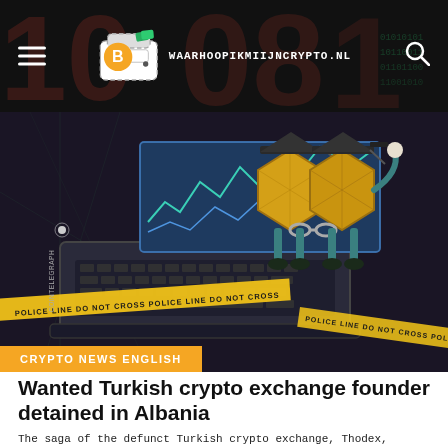WAARHOOPIKMIIJNCRYPTO.NL
[Figure (illustration): Illustration of two cartoon Bitcoin coin characters wearing graduation caps, handcuffed together with yellow police tape reading POLICE LINE DO NOT CROSS in the foreground, set against a dark background with a laptop and digital chart display. Overlaid with orange binary/digit background pattern.]
CRYPTO NEWS ENGLISH
Wanted Turkish crypto exchange founder detained in Albania
The saga of the defunct Turkish crypto exchange, Thodex, continues as its fugitive founder is now in